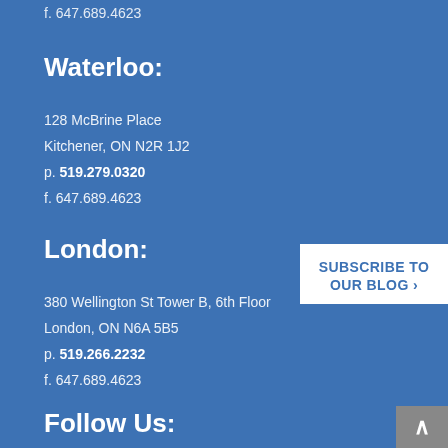f. 647.689.4623
Waterloo:
128 McBrine Place
Kitchener, ON N2R 1J2
p. 519.279.0320
f. 647.689.4623
London:
380 Wellington St Tower B, 6th Floor
London, ON N6A 5B5
p. 519.266.2232
f. 647.689.4623
[Figure (other): Subscribe to Our Blog button with scroll-to-top arrow]
Follow Us: